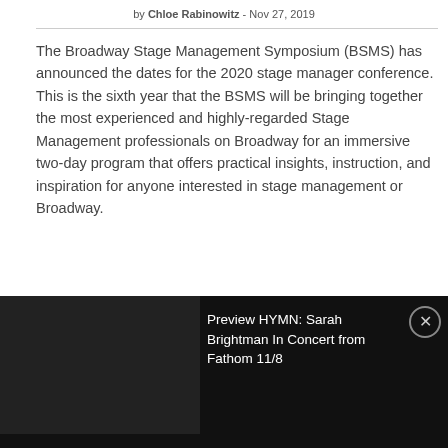by Chloe Rabinowitz - Nov 27, 2019
The Broadway Stage Management Symposium (BSMS) has announced the dates for the 2020 stage manager conference. This is the sixth year that the BSMS will be bringing together the most experienced and highly-regarded Stage Management professionals on Broadway for an immersive two-day program that offers practical insights, instruction, and inspiration for anyone interested in stage management or Broadway.
Preview HYMN: Sarah Brightman In Concert from Fathom 11/8